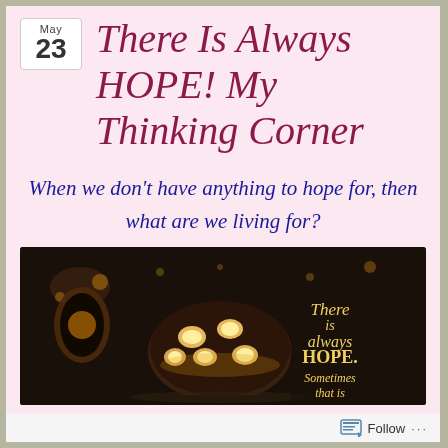May 23
There Is Always HOPE! My Thinking Corner
When we don’t have anything to hope for, then what are we living for?
[Figure (photo): Night photo of a glowing mushroom-shaped stone lamp in a garden setting, with text overlay reading 'There is always HOPE. Sometimes that is']
Follow ...